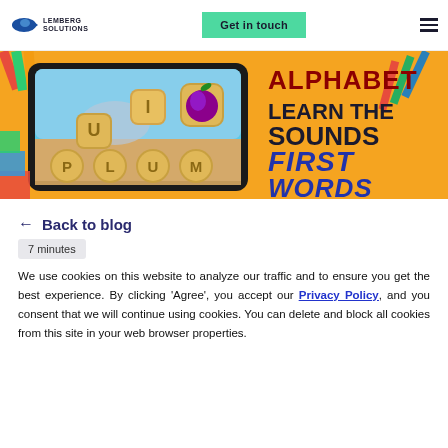Lemberg Solutions | Get in touch
[Figure (illustration): Alphabet Learn the Sounds First Words educational app banner showing a tablet with letter tiles spelling PLUM with a plum fruit image, orange background with colorful school supplies]
← Back to blog
7 minutes
We use cookies on this website to analyze our traffic and to ensure you get the best experience. By clicking 'Agree', you accept our Privacy Policy, and you consent that we will continue using cookies. You can delete and block all cookies from this site in your web browser properties.